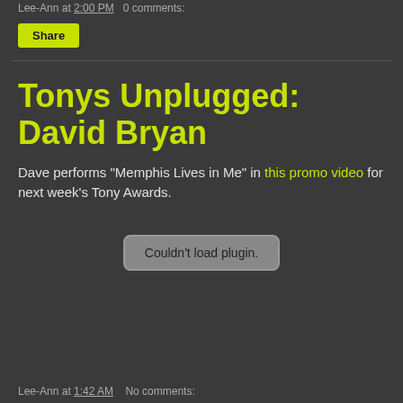Lee-Ann at 2:00 PM   0 comments:
Share
Tonys Unplugged: David Bryan
Dave performs "Memphis Lives in Me" in this promo video for next week's Tony Awards.
[Figure (other): Video plugin placeholder showing 'Couldn't load plugin.' error message]
Lee-Ann at 1:42 AM   No comments: